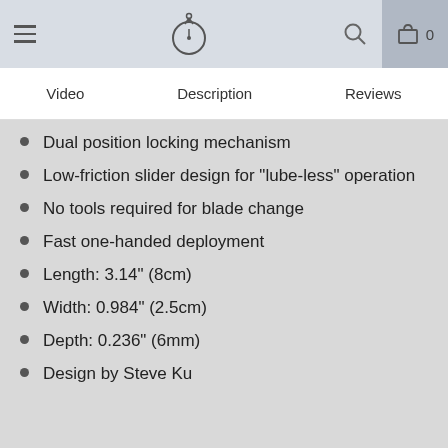Navigation header with menu icon, compass logo, search icon, and cart (0)
Video | Description | Reviews
Dual position locking mechanism
Low-friction slider design for "lube-less" operation
No tools required for blade change
Fast one-handed deployment
Length: 3.14" (8cm)
Width: 0.984" (2.5cm)
Depth: 0.236" (6mm)
Design by Steve Ku